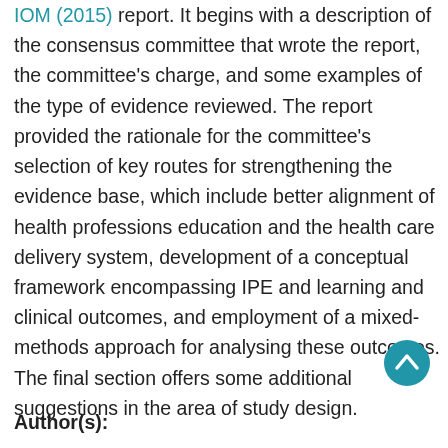IOM (2015) report. It begins with a description of the consensus committee that wrote the report, the committee's charge, and some examples of the type of evidence reviewed. The report provided the rationale for the committee's selection of key routes for strengthening the evidence base, which include better alignment of health professions education and the health care delivery system, development of a conceptual framework encompassing IPE and learning and clinical outcomes, and employment of a mixed-methods approach for analysing these outcomes. The final section offers some additional suggestions in the area of study design.
[Figure (other): Blue circular scroll-to-top button with white upward chevron arrow]
Author(s):